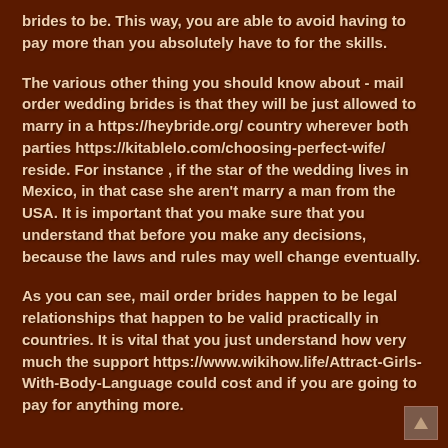brides to be. This way, you are able to avoid having to pay more than you absolutely have to for the skills.
The various other thing you should know about - mail order wedding brides is that they will be just allowed to marry in a https://heybride.org/ country wherever both parties https://kitablelo.com/choosing-perfect-wife/ reside. For instance , if the star of the wedding lives in Mexico, in that case she aren't marry a man from the USA. It is important that you make sure that you understand that before you make any decisions, because the laws and rules may well change eventually.
As you can see, mail order brides happen to be legal relationships that happen to be valid practically in countries. It is vital that you just understand how very much the support https://www.wikihow.life/Attract-Girls-With-Body-Language could cost and if you are going to pay for anything more.